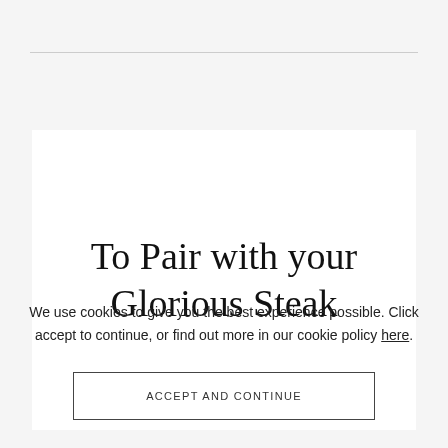To Pair with your Glorious Steak
We use cookies to give you the best experience possible. Click accept to continue, or find out more in our cookie policy here.
ACCEPT AND CONTINUE